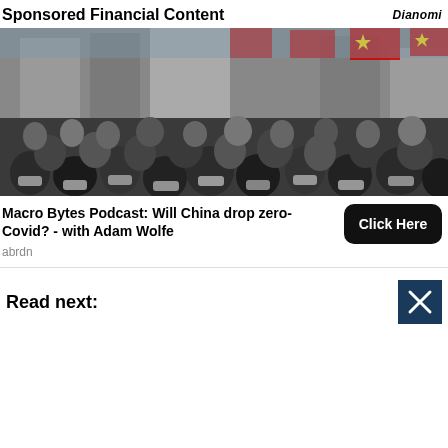Sponsored Financial Content
[Figure (photo): A crowded street scene in China with people wearing face masks, Chinese flags visible overhead on buildings in a busy commercial district.]
Macro Bytes Podcast: Will China drop zero-Covid? - with Adam Wolfe
abrdn
Read next: